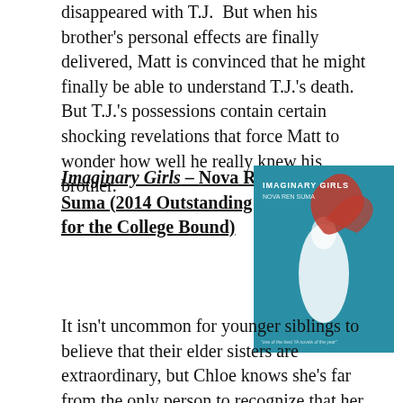disappeared with T.J.  But when his brother's personal effects are finally delivered, Matt is convinced that he might finally be able to understand T.J.'s death.  But T.J.'s possessions contain certain shocking revelations that force Matt to wonder how well he really knew his brother.
Imaginary Girls – Nova Ren Suma (2014 Outstanding Books for the College Bound)
[Figure (photo): Book cover of 'Imaginary Girls' by Nova Ren Suma — a figure in a white dress appears to be underwater, with flowing red hair, against a teal/blue background.]
It isn't uncommon for younger siblings to believe that their elder sisters are extraordinary, but Chloe knows she's far from the only person to recognize that her sister Ruby's someone special. Ruby is the girl that everyone longs to touch–the girl everyone wants to be.  When Ruby wants something to happen, it does.  She's